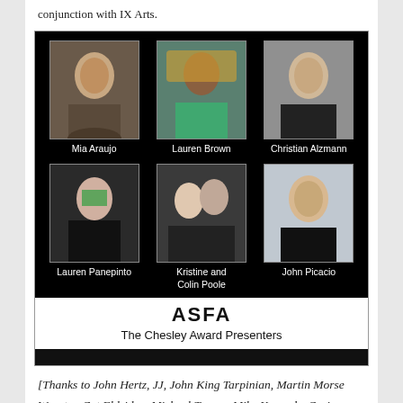conjunction with IX Arts.
[Figure (photo): ASFA Chesley Award Presenters collage showing six presenters: Mia Araujo, Lauren Brown, Christian Alzmann (top row), Lauren Panepinto, Kristine and Colin Poole, John Picacio (bottom row). Black background with white name labels. ASFA logo and 'The Chesley Award Presenters' text below.]
[Thanks to John Hertz, JJ, John King Tarpinian, Martin Morse Wooster, Cat Eldridge, Michael Toman, Mike Kennedy, Geri Ruhlert, Bob Thornton, and Andrew Porter